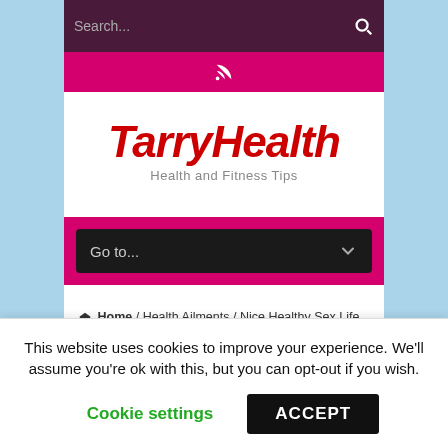[Figure (screenshot): TarryHealth website screenshot showing search bar, pink RSS bar, logo, navigation dropdown, breadcrumb navigation, and cookie consent banner]
TarryHealth
Health and Fitness Tips
Go to...
Home / Health Ailments / Nice Healthy Sex Life photos
This website uses cookies to improve your experience. We'll assume you're ok with this, but you can opt-out if you wish.
Cookie settings
ACCEPT